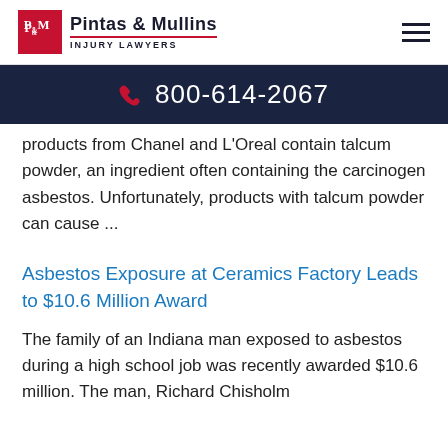[Figure (logo): Pintas & Mullins Injury Lawyers logo with red P&M monogram box]
800-614-2067
products from Chanel and L'Oreal contain talcum powder, an ingredient often containing the carcinogen asbestos. Unfortunately, products with talcum powder can cause ...
Asbestos Exposure at Ceramics Factory Leads to $10.6 Million Award
The family of an Indiana man exposed to asbestos during a high school job was recently awarded $10.6 million. The man, Richard Chisholm